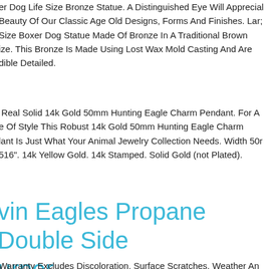er Dog Life Size Bronze Statue. A Distinguished Eye Will Apprecial Beauty Of Our Classic Age Old Designs, Forms And Finishes. Lar; Size Boxer Dog Statue Made Of Bronze In A Traditional Brown ize. This Bronze Is Made Using Lost Wax Mold Casting And Are dible Detailed.
Real Solid 14k Gold 50mm Hunting Eagle Charm Pendant. For A e Of Style This Robust 14k Gold 50mm Hunting Eagle Charm lant Is Just What Your Animal Jewelry Collection Needs. Width 50r 516". 14k Yellow Gold. 14k Stamped. Solid Gold (not Plated).
vin Eagles Propane Double Side urner
Warranty Excludes Discoloration, Surface Scratches, Weather An